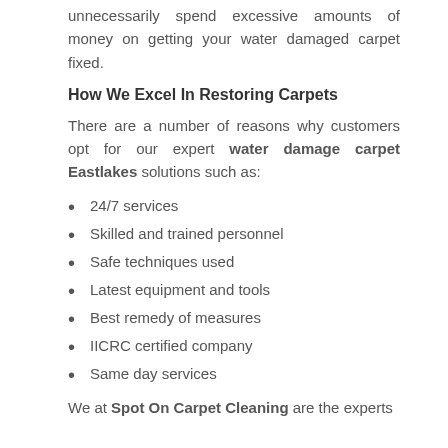unnecessarily spend excessive amounts of money on getting your water damaged carpet fixed.
How We Excel In Restoring Carpets
There are a number of reasons why customers opt for our expert water damage carpet Eastlakes solutions such as:
24/7 services
Skilled and trained personnel
Safe techniques used
Latest equipment and tools
Best remedy of measures
IICRC certified company
Same day services
We at Spot On Carpet Cleaning are the experts